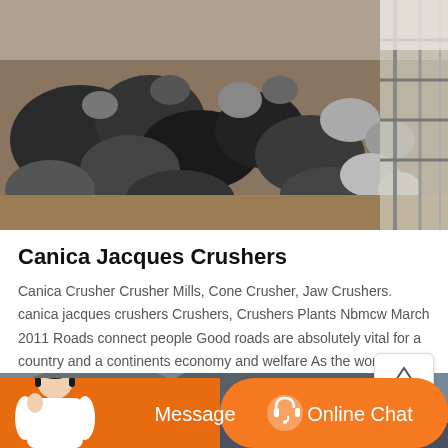[Figure (photo): Photograph of crushed rocks and stones, industrial mining or crushing site, with metal railing visible on the right side.]
Canica Jacques Crushers
Canica Crusher Crusher Mills, Cone Crusher, Jaw Crushers. canica jacques crushers Crushers, Crushers Plants Nbmcw March 2011 Roads connect people Good roads are absolutely vital for a country and a continents economy and welfare As the world population grows, the . Get Price Email contact
[Figure (photo): Photograph showing overcast dark clouds in the sky, industrial outdoor scene, bottom portion of the page.]
[Figure (other): Orange chat bar at the bottom with a customer service agent photo on the left, Message button in the center-left, and Online Chat button with headset icon on the right.]